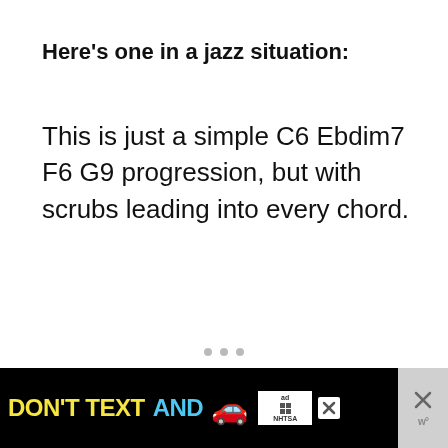Here’s one in a jazz situation:
This is just a simple C6 Ebdim7 F6 G9 progression, but with scrubs leading into every chord.
[Figure (other): Advertisement banner: DON'T TEXT AND [car emoji] with ad badge and NHTSA branding, with close buttons on the right side.]